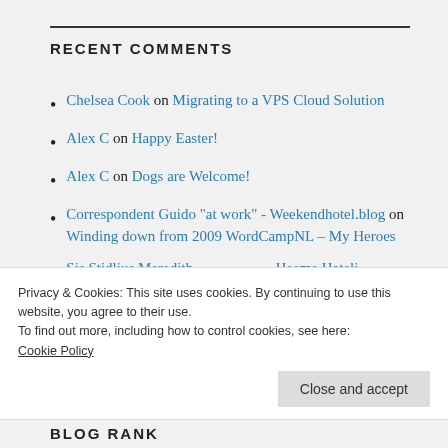RECENT COMMENTS
Chelsea Cook on Migrating to a VPS Cloud Solution
Alex C on Happy Easter!
Alex C on Dogs are Welcome!
Correspondent Guido "at work" - Weekendhotel.blog on Winding down from 2009 WordCampNL – My Heroes
[partially visible item]
Privacy & Cookies: This site uses cookies. By continuing to use this website, you agree to their use.
To find out more, including how to control cookies, see here:
Cookie Policy
Close and accept
BLOG RANK